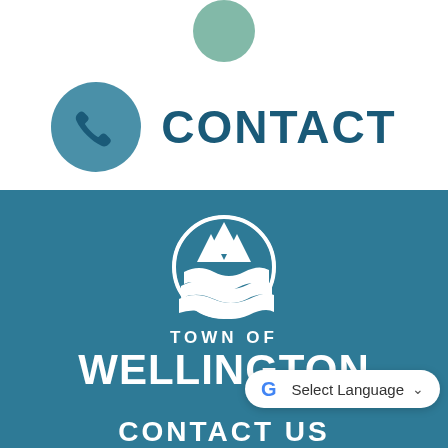[Figure (illustration): Partial mint/sage green circle icon at top center (cropped at top edge)]
[Figure (illustration): Blue circle icon with white telephone handset, next to bold navy CONTACT text]
CONTACT
[Figure (logo): Town of Wellington logo: white circular emblem with mountain peaks and rolling fields/waves, on teal/steel blue background]
TOWN OF WELLINGTON
[Figure (screenshot): Google Translate widget showing G logo, 'Select Language' text and dropdown chevron on white pill-shaped background]
CONTACT US